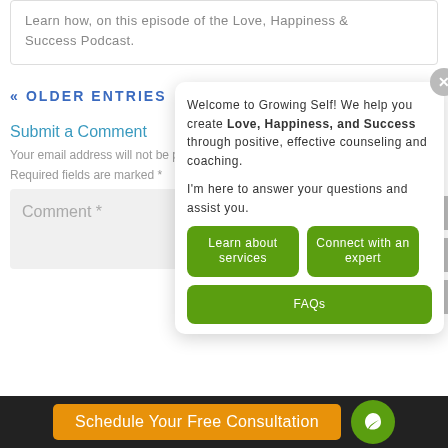Learn how, on this episode of the Love, Happiness & Success Podcast.
« OLDER ENTRIES
[Figure (screenshot): Chat popup widget with welcome message from Growing Self, green action buttons (Learn about services, Connect with an expert, FAQs), and a close button.]
Submit a Comment
Your email address will not be published.
Required fields are marked *
Comment *
Schedule Your Free Consultation